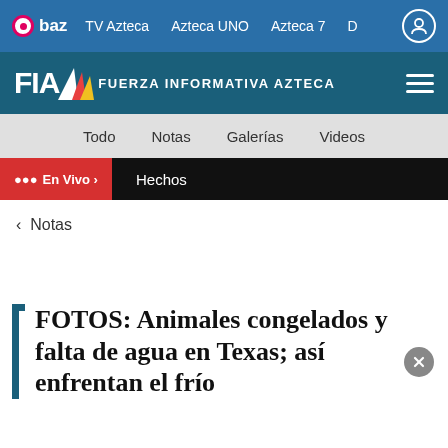baz  TV Azteca  Azteca UNO  Azteca 7  D
FIA FUERZA INFORMATIVA AZTECA
Todo  Notas  Galerías  Videos
(•)) En Vivo >  Hechos
< Notas
FOTOS: Animales congelados y falta de agua en Texas; así enfrentan el frío